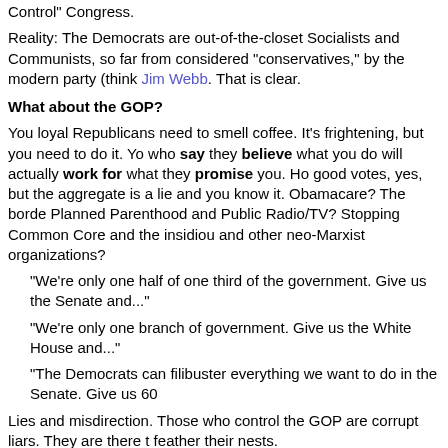Control" Congress.
Reality: The Democrats are out-of-the-closet Socialists and Communists, so far from considered "conservatives," by the modern party (think Jim Webb. That is clear.
What about the GOP?
You loyal Republicans need to smell coffee. It's frightening, but you need to do it. You who say they believe what you do will actually work for what they promise you. Ho good votes, yes, but the aggregate is a lie and you know it. Obamacare? The border Planned Parenthood and Public Radio/TV? Stopping Common Core and the insidious and other neo-Marxist organizations?
"We're only one half of one third of the government. Give us the Senate and..."
"We're only one branch of government. Give us the White House and..."
"The Democrats can filibuster everything we want to do in the Senate. Give us 60
Lies and misdirection. Those who control the GOP are corrupt liars. They are there to feather their nests.
What can you do?
Vote against liars, even if they are the "lessor of two evils." Both the bullet and same. Show the GOP the lies won't fly.
Stop donating to your political and party and send your money only to the ca
Browbeat your NC General Assembly representatives to push and vote for
Write short, polite, to-the-point notes to the President and your U.S. Senator